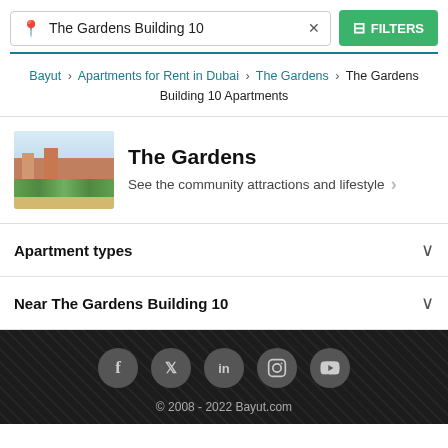The Gardens Building 10 × [search box with filters button]
Bayut > Apartments for Rent in Dubai > The Gardens > The Gardens Building 10 Apartments
[Figure (photo): Community image showing The Gardens with palm trees and buildings]
The Gardens
See the community attractions and lifestyle >
Apartment types
Near The Gardens Building 10
© 2008 - 2022 Bayut.com